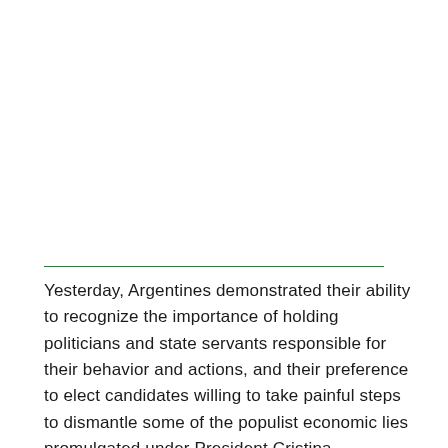Yesterday, Argentines demonstrated their ability to recognize the importance of holding politicians and state servants responsible for their behavior and actions, and their preference to elect candidates willing to take painful steps to dismantle some of the populist economic lies promulgated under President Cristina Fernandez de Kirchner.